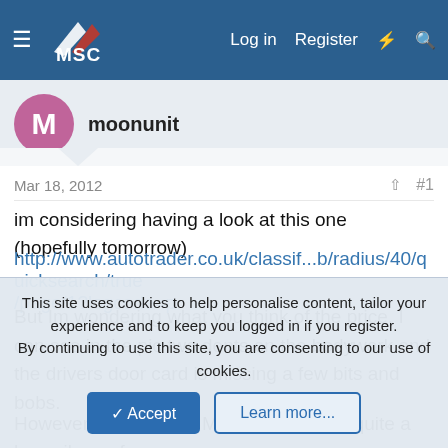MSC — Log in  Register
moonunit
Mar 18, 2012  #1
im considering having a look at this one (hopefully tomorrow)
http://www.autotrader.co.uk/classif...b/radius/40/quicksearch/true/page/1?logcode=p
But Im wondering what you think of the price, I can see in the pic two dents on the bodywork and the drivers door card is missing a few bits and bobs.
However it has a long MOT and tax and quite a low mileage for
This site uses cookies to help personalise content, tailor your experience and to keep you logged in if you register.
By continuing to use this site, you are consenting to our use of cookies.